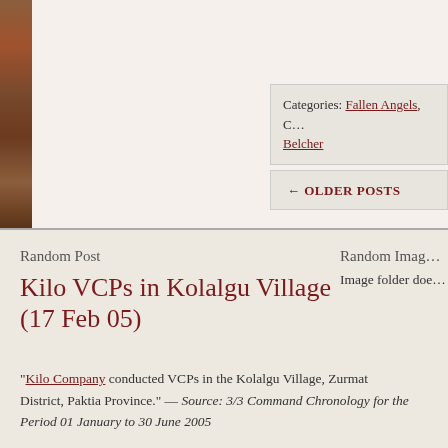[Figure (photo): Left edge image strip showing a textured brick or stone wall in warm brown/terracotta tones]
Categories: Fallen Angels, C… Belcher
← OLDER POSTS
Random Post
Kilo VCPs in Kolalgu Village (17 Feb 05)
"Kilo Company conducted VCPs in the Kolalgu Village, Zurmat District, Paktia Province." — Source: 3/3 Command Chronology for the Period 01 January to 30 June 2005
Random Imag…
Image folder doe…